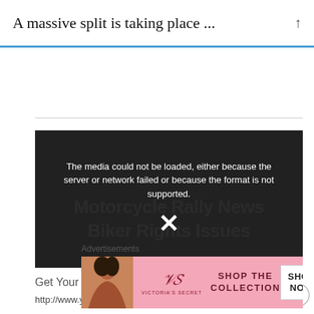A massive split is taking place ...
[Figure (screenshot): Embedded video player showing error message: 'The media could not be loaded, either because the server or network failed or because the format is not supported.' with an X close icon. Background shows watermark text 'Motorcycle Rally News Biker Rights Issues']
Get Your Biker News Mon-Fri at 8:00amcst
http://www.youtube.com/c/irreverentthrottlebiker...
[Figure (infographic): Victoria's Secret advertisement banner with pink background, woman photo, VS logo, text 'SHOP THE COLLECTION', and 'SHOP NOW' button]